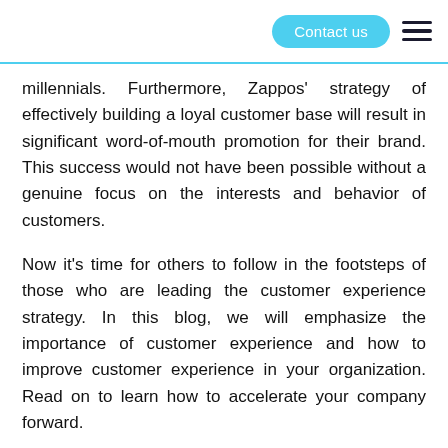Contact us
millennials. Furthermore, Zappos' strategy of effectively building a loyal customer base will result in significant word-of-mouth promotion for their brand. This success would not have been possible without a genuine focus on the interests and behavior of customers.
Now it's time for others to follow in the footsteps of those who are leading the customer experience strategy. In this blog, we will emphasize the importance of customer experience and how to improve customer experience in your organization. Read on to learn how to accelerate your company forward.
1. Make a map of the customer